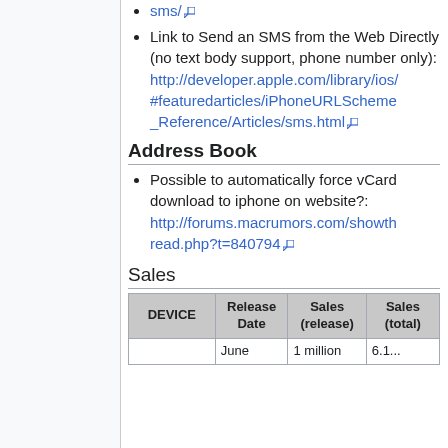sms/ [external link]
Link to Send an SMS from the Web Directly (no text body support, phone number only): http://developer.apple.com/library/ios/#featuredarticles/iPhoneURLScheme_Reference/Articles/sms.html [external link]
Address Book
Possible to automatically force vCard download to iphone on website?: http://forums.macrumors.com/showthread.php?t=840794 [external link]
Sales
| DEVICE | Release Date | Sales (release) | Sales (total) |
| --- | --- | --- | --- |
|  | June | 1 million | 6.1... |